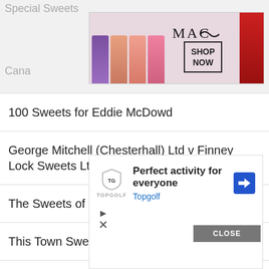Special Sweets
[Figure (photo): MAC cosmetics advertisement banner showing colorful lipsticks with MAC logo and SHOP NOW button]
Cana
100 Sweets for Eddie McDowd
George Mitchell (Chesterhall) Ltd v Finney Lock Sweets Ltd
The Sweets of Love
This Town Sweets Guns
Sweets Gettin’ Better
Swee
The S
[Figure (advertisement): Topgolf advertisement: Perfect activity for everyone, Topgolf, with a diamond-shaped arrow icon and Topgolf shield logo. Includes CLOSE button and play/X icons.]